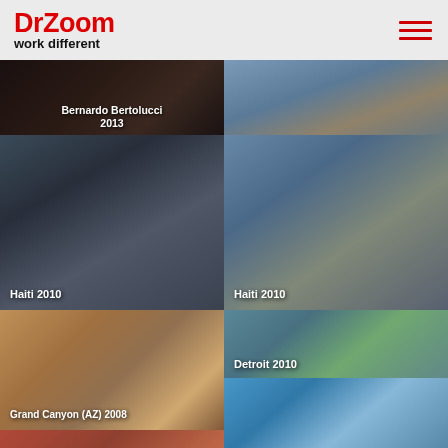DrZoom work different
[Figure (photo): Bernardo Bertolucci 2013 - dark indoor photo]
[Figure (photo): Haiti 2010 - person crouching near helicopter on aircraft carrier deck]
[Figure (photo): Haiti 2010 - person working on aircraft carrier deck with military helicopter]
[Figure (photo): Haiti 2010 - person with laptop on carrier deck]
[Figure (photo): Grand Canyon (AZ) 2008 - cameraman with tripod in canyon landscape]
[Figure (photo): Detroit 2010 - cameraman with skyline in background]
[Figure (photo): Bottom left partial - colorful hot air balloon]
[Figure (photo): Bottom right partial - person with curly hair outdoors]